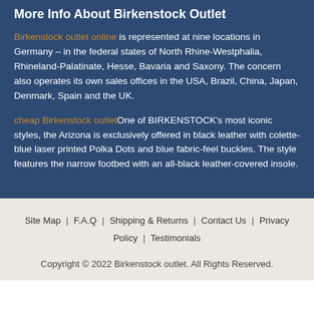More Info About Birkenstock Outlet
Birkenstock outlet online is represented at nine locations in Germany – in the federal states of North Rhine-Westphalia, Rhineland-Palatinate, Hesse, Bavaria and Saxony. The concern also operates its own sales offices in the USA, Brazil, China, Japan, Denmark, Spain and the UK.
cheap Birkenstock outletOne of BIRKENSTOCK's most iconic styles, the Arizona is exclusively offered in black leather with colette-blue laser printed Polka Dots and blue fabric-feel buckles. The style features the narrow footbed with an all-black leather-covered insole.
Site Map | F.A.Q | Shipping & Returns | Contact Us | Privacy Policy | Testimonials
Copyright © 2022 Birkenstock outlet. All Rights Reserved.